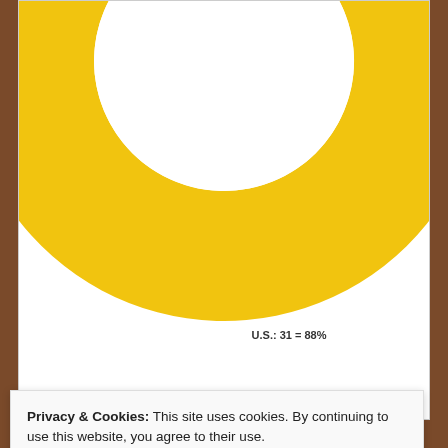[Figure (donut-chart): Donut chart showing U.S.: 31 = 88% as the dominant yellow segment, with smaller orange/red segments]
[Figure (photo): Red background image strip partially visible]
Privacy & Cookies: This site uses cookies. By continuing to use this website, you agree to their use.
To find out more, including how to control cookies, see here: Cookie Policy
Close and accept